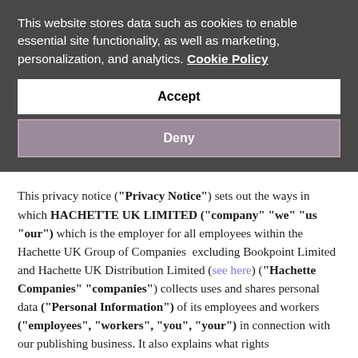This website stores data such as cookies to enable essential site functionality, as well as marketing, personalization, and analytics. Cookie Policy
Accept
Deny
This privacy notice ("Privacy Notice") sets out the ways in which HACHETTE UK LIMITED ("company" "we" "us "our") which is the employer for all employees within the Hachette UK Group of Companies  excluding Bookpoint Limited and Hachette UK Distribution Limited (see here) ("Hachette Companies" "companies") collects uses and shares personal data ("Personal Information") of its employees and workers ("employees", "workers", "you", "your") in connection with our publishing business. It also explains what rights